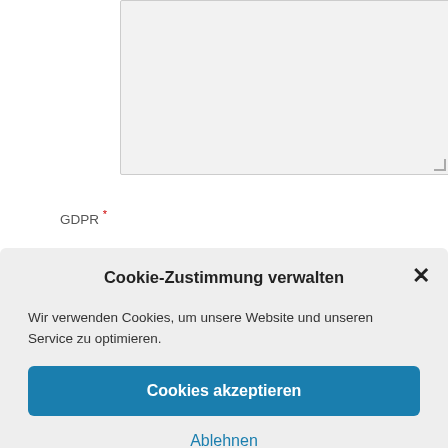[Figure (screenshot): A light gray empty textarea form field with a resize handle in the bottom-right corner]
GDPR *
Cookie-Zustimmung verwalten
Wir verwenden Cookies, um unsere Website und unseren Service zu optimieren.
Cookies akzeptieren
Ablehnen
Einstellungen anzeigen
Cookie-Richtlinie   Data Protection   Impressum